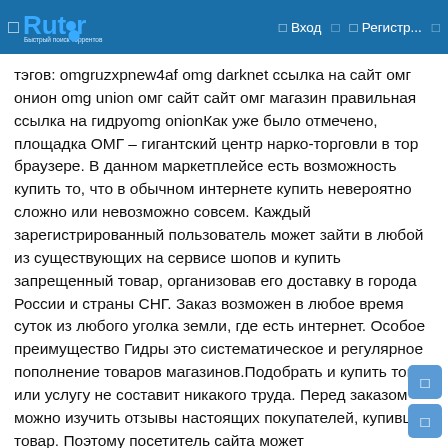Rutor — Вход — Регистр...
тэгов: omgruzxpnew4af omg darknet ссылка на сайт омг онион omg union омг сайт сайт омг магазин правильная ссылка на гидруomg onionКак уже было отмечено, площадка ОМГ – гигантский центр нарко-торговли в тор браузере. В данном маркетплейсе есть возможность купить то, что в обычном интернете купить невероятно сложно или невозможно совсем. Каждый зарегистрированный пользователь может зайти в любой из существующих на сервисе шопов и купить запрещенный товар, организовав его доставку в города России и страны СНГ. Заказ возможен в любое время суток из любого уголка земли, где есть интернет. Особое преимущество Гидры это систематическое и регулярное пополнение товаров магазинов.Подобрать и купить товар или услугу не составит никакого труда. Перед заказом можно изучить отзывы настоящих покупателей, купивших товар. Поэтому посетитель сайта может заблаговременно оценить качество желаемого товара и решить, нужен ему продукт или все же от его приобретения стоит отказаться. Особенность закрытого маркетплейса в